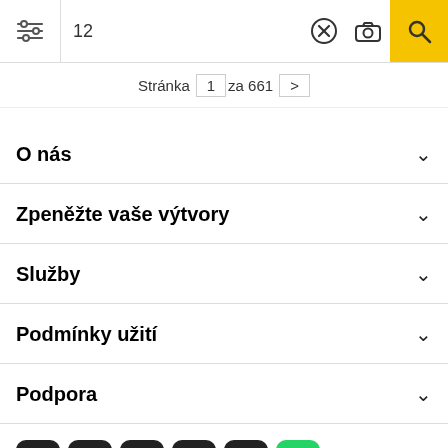[Figure (screenshot): Search bar with filter icon, search input showing '12', close button, camera button, and yellow search button]
Stránka 1 za 661 >
O nás
Zpeněžte vaše výtvory
Služby
Podmínky užití
Podpora
[Figure (other): Social media icons: Discord, Facebook, Twitter, Instagram, Pinterest, WhatsApp]
Všechna práva vyhrazena. © Inmagine Lab Pte Ltd 2022.